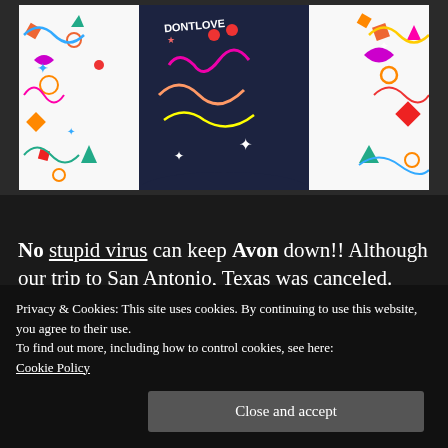[Figure (photo): Photo of a person wearing a dark navy jacket/apron with colorful confetti shapes (stars, diamonds, circles, swirls in red, yellow, green, orange, pink) against a white confetti-patterned background. Pink and colorful text on the jacket is partially visible at the top.]
No stupid virus can keep Avon down!! Although our trip to San Antonio, Texas was canceled. Avon chose to think OUTSIDE THE BOX!! We are having a "VIRTUAL LIVE CONVENTION" from the comfort of our homes. We still will get lots of SWAG as we always do and win lots of
Privacy & Cookies: This site uses cookies. By continuing to use this website, you agree to their use.
To find out more, including how to control cookies, see here:
Cookie Policy
Close and accept